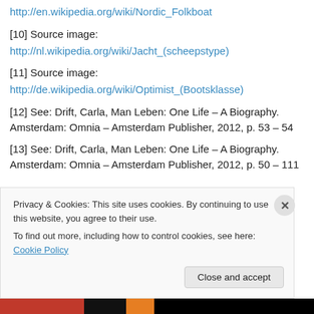http://en.wikipedia.org/wiki/Nordic_Folkboat
[10] Source image:
http://nl.wikipedia.org/wiki/Jacht_(scheepstype)
[11] Source image:
http://de.wikipedia.org/wiki/Optimist_(Bootsklasse)
[12] See: Drift, Carla, Man Leben: One Life – A Biography. Amsterdam: Omnia – Amsterdam Publisher, 2012, p. 53 – 54
[13] See: Drift, Carla, Man Leben: One Life – A Biography. Amsterdam: Omnia – Amsterdam Publisher, 2012, p. 50 – 111
Privacy & Cookies: This site uses cookies. By continuing to use this website, you agree to their use.
To find out more, including how to control cookies, see here: Cookie Policy